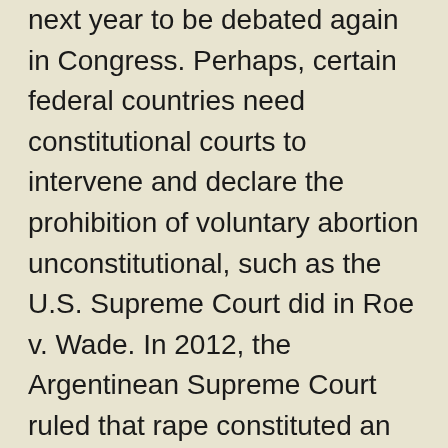next year to be debated again in Congress. Perhaps, certain federal countries need constitutional courts to intervene and declare the prohibition of voluntary abortion unconstitutional, such as the U.S. Supreme Court did in Roe v. Wade. In 2012, the Argentinean Supreme Court ruled that rape constituted an exception and that women could be granted an abortion following an affidavit. Regrettably, not all judicial authorities are willing to sign off on the affidavits and not all physicians are keen to practice abortions even following a judge's order. The Catholic Church opposed the ruling, claiming that not even rape justified the termination of a pregnancy.